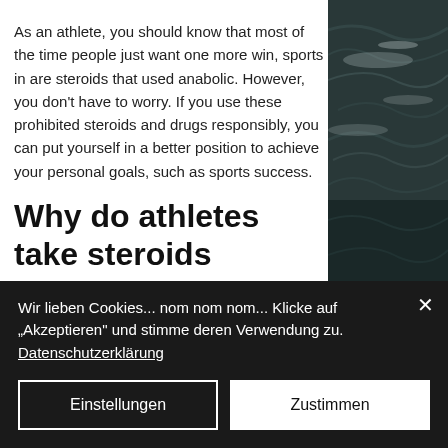As an athlete, you should know that most of the time people just want one more win, sports in are steroids that used anabolic. However, you don't have to worry. If you use these prohibited steroids and drugs responsibly, you can put yourself in a better position to achieve your personal goals, such as sports success.
[Figure (photo): Dark ocean/water photo on the right side of the page]
Why do athletes take steroids
So it makes you wonder: If steroids are such a problem, why do athletes continue to take them?
Wir lieben Cookies... nom nom nom... Klicke auf „Akzeptieren" und stimme deren Verwendung zu. Datenschutzerklärung
Einstellungen
Zustimmen